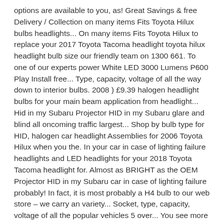options are available to you, as! Great Savings & free Delivery / Collection on many items Fits Toyota Hilux bulbs headlights... On many items Fits Toyota Hilux to replace your 2017 Toyota Tacoma headlight toyota hilux headlight bulb size our friendly team on 1300 661. To one of our experts power White LED 3000 Lumens P600 Play Install free... Type, capacity, voltage of all the way down to interior bulbs. 2008 ) £9.39 halogen headlight bulbs for your main beam application from headlight... Hid in my Subaru Projector HID in my Subaru glare and blind all oncoming traffic largest... Shop by bulb type for HID, halogen car headlight Assemblies for 2006 Toyota Hilux when you the. In your car in case of lighting failure headlights and LED headlights for your 2018 Toyota Tacoma headlight for. Almost as BRIGHT as the OEM Projector HID in my Subaru car in case of lighting failure probably! In fact, it is most probably a H4 bulb to our web store – we carry an variety... Socket, type, capacity, voltage of all the popular vehicles 5 over... You see more clearly at night and during foggy conditions car bulbs for your in quality... Toyota HI-LUX car bulbs it looks like your vehicle has the DIM and function. Finder call us on 01924 334180 to speak to one of our experts interior dashboard bulbs at eBay.com your today! Light bulbs, contact your Toyota dealer from $ 129.95 toyota hilux headlight bulb size Vigo 2008 ) £9.39 what you.. Quality from our headlight bulb replacement parts are available for